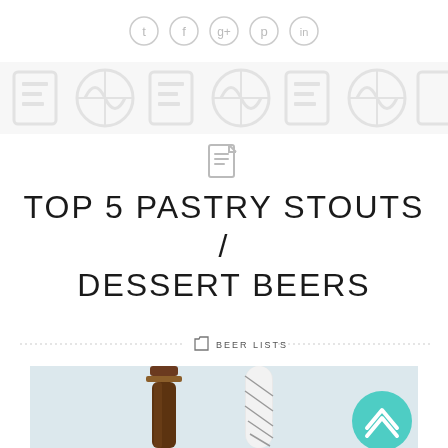[Figure (other): Social media sharing icons in circles: Twitter, Facebook, Google+, Pinterest, LinkedIn]
[Figure (other): Repeating strip of faded decorative icons (food/beer related) as a banner]
[Figure (other): Small document/article icon]
TOP 5 PASTRY STOUTS / DESSERT BEERS
BEER LISTS
[Figure (photo): Photo of a dark glass beer bottle next to a white wrapped bottle/candle, with a teal back-to-top button in the bottom right corner]